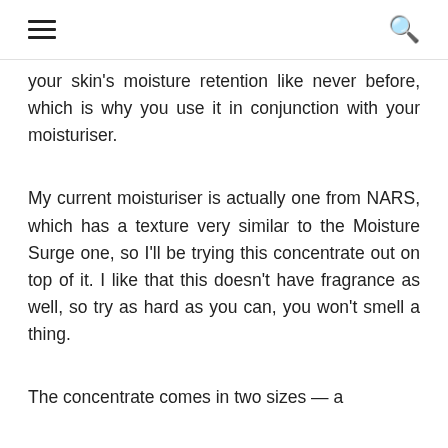≡  🔍
your skin's moisture retention like never before, which is why you use it in conjunction with your moisturiser.
My current moisturiser is actually one from NARS, which has a texture very similar to the Moisture Surge one, so I'll be trying this concentrate out on top of it. I like that this doesn't have fragrance as well, so try as hard as you can, you won't smell a thing.
The concentrate comes in two sizes — a